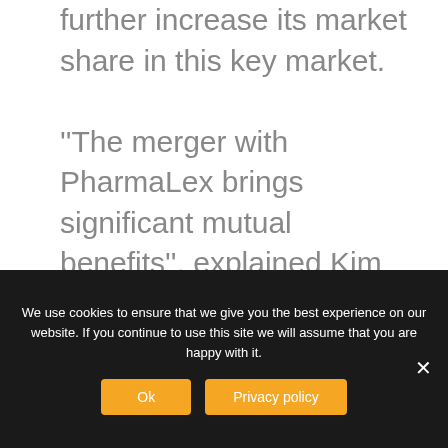further increase its market share in this key market.
''The merger with PharmaLex brings significant mutual benefits'', explained Kim Wharton. ''Our services in Regulatory Affairs, Pharmacovigilance and Quality Assurance align perfectly within the PharmaLex portfolio. Becoming part of a larger organisation
We use cookies to ensure that we give you the best experience on our website. If you continue to use this site we will assume that you are happy with it.